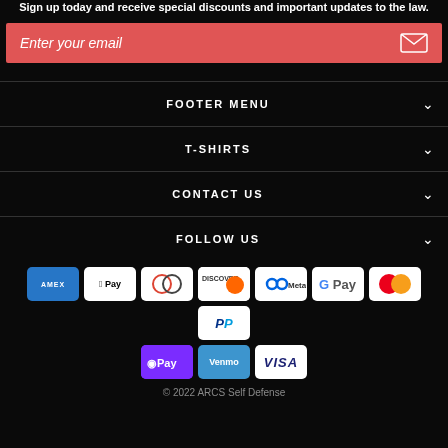Sign up today and receive special discounts and important updates to the law.
Enter your email
FOOTER MENU
T-SHIRTS
CONTACT US
FOLLOW US
[Figure (infographic): Payment method icons: American Express, Apple Pay, Diners Club, Discover, Meta Pay, Google Pay, Mastercard, PayPal, OPay, Venmo, Visa]
© 2022 ARCS Self Defense